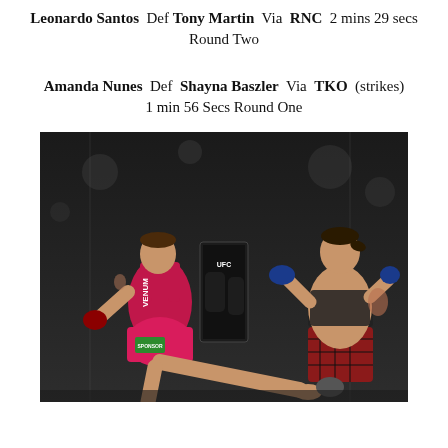Leonardo Santos Def Tony Martin Via RNC 2 mins 29 secs Round Two
Amanda Nunes Def Shayna Baszler Via TKO (strikes) 1 min 56 Secs Round One
[Figure (photo): Two female MMA fighters in a UFC octagon. The fighter on the left in pink/red Venum gear is throwing a kick, while the fighter on the right in black and red plaid shorts is in a fighting stance with gloves raised.]